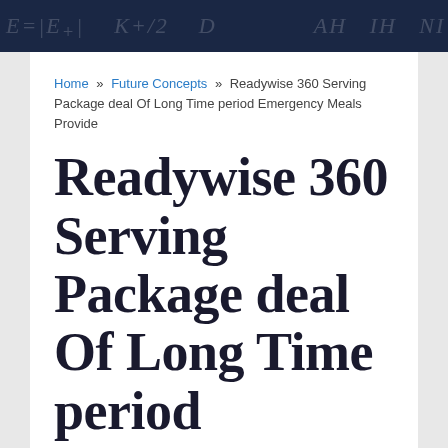E=|E+| K+/2 … (chalkboard formulas background)
Home » Future Concepts » Readywise 360 Serving Package deal Of Long Time period Emergency Meals Provide
Readywise 360 Serving Package deal Of Long Time period Emergency Meals Provide